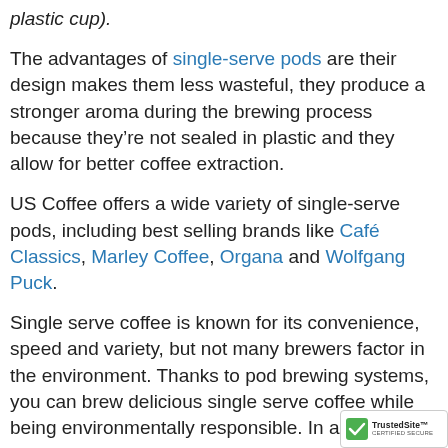plastic cup).
The advantages of single-serve pods are their design makes them less wasteful, they produce a stronger aroma during the brewing process because they’re not sealed in plastic and they allow for better coffee extraction.
US Coffee offers a wide variety of single-serve pods, including best selling brands like Café Classics, Marley Coffee, Organa and Wolfgang Puck.
Single serve coffee is known for its convenience, speed and variety, but not many brewers factor in the environment. Thanks to pod brewing systems, you can brew delicious single serve coffee while being environmentally responsible. In addi…